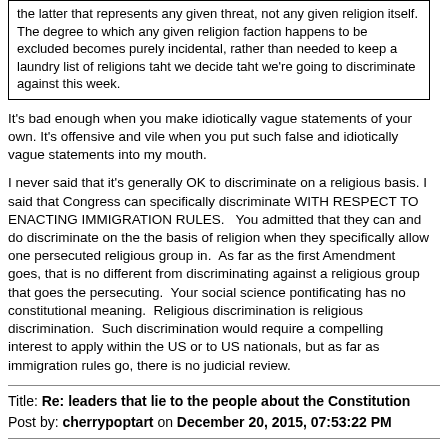the latter that represents any given threat, not any given religion itself. The degree to which any given religion faction happens to be excluded becomes purely incidental, rather than needed to keep a laundry list of religions taht we decide taht we're going to discriminate against this week.
It's bad enough when you make idiotically vague statements of your own. It's offensive and vile when you put such false and idiotically vague statements into my mouth.
I never said that it's generally OK to discriminate on a religious basis. I said that Congress can specifically discriminate WITH RESPECT TO ENACTING IMMIGRATION RULES.   You admitted that they can and do discriminate on the the basis of religion when they specifically allow one persecuted religious group in.  As far as the first Amendment goes, that is no different from discriminating against a religious group that goes the persecuting.  Your social science pontificating has no constitutional meaning.  Religious discrimination is religious discrimination.  Such discrimination would require a compelling interest to apply within the US or to US nationals, but as far as immigration rules go, there is no judicial review.
Title: Re: leaders that lie to the people about the Constitution
Post by: cherrypoptart on December 20, 2015, 07:53:22 PM
Let's not forget either that our government is still fighting to protect its right to discriminate against people solely based on their race. Specifically white people and sometimes Asians of course. They say there is a compelling interest. And everyone fighting against a compelling interest for discriminating based